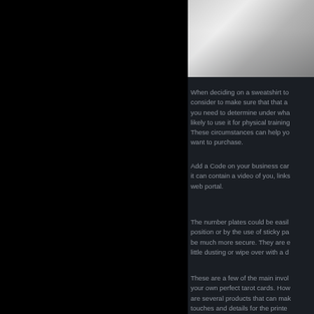[Figure (photo): Partial photo of a sweatshirt or clothing item, light gray/white background, visible at top right of page]
When deciding on a sweatshirt to consider to make sure that that a you need to determine under wha likely to use it for physical training These circumstances can help yo want to purchase.
Add a Code on your business car it can contain a video of you, links web portal.
The number plates could be easil position or by the use of sticky pa be much more secure. They are e little dusting or wipe over with a d
These are a few of the main invol your own perfect tarot cards. How are several products that can mak touches and details for the printe